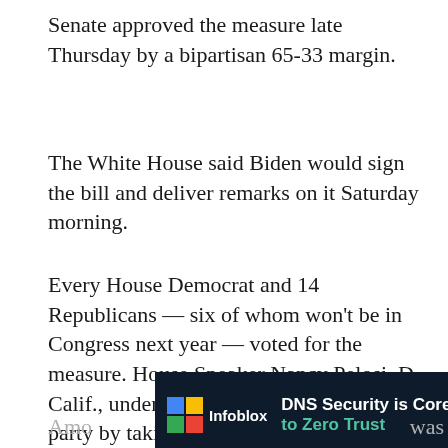Senate approved the measure late Thursday by a bipartisan 65-33 margin.
The White House said Biden would sign the bill and deliver remarks on it Saturday morning.
Every House Democrat and 14 Republicans — six of whom won't be in Congress next year — voted for the measure. House Speaker Nancy Pelosi, D-Calif., underscored its significance to her party by taking the unusual step of presiding over the vote and announcing the result from the podium, to huzzahs from rank-and-file Democrats on the chamber's floor.
[Figure (infographic): Infoblox advertisement: DNS Security is Core to Zero Trust, with a Learn More button on green background]
Amo... was